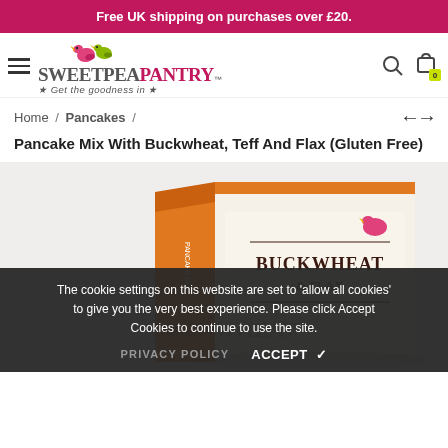Free UK shipping on purchases over £20.
[Figure (logo): Sweet Pea Pantry logo with two birds and tagline 'Get the goodness in']
Home / Pancakes /
Pancake Mix With Buckwheat, Teff And Flax (Gluten Free)
[Figure (photo): Product box for Buckwheat and Flax pancake mix by Sweet Pea Pantry, orange and white packaging]
The cookie settings on this website are set to 'allow all cookies' to give you the very best experience. Please click Accept Cookies to continue to use the site.
PRIVACY POLICY   ACCEPT ✔